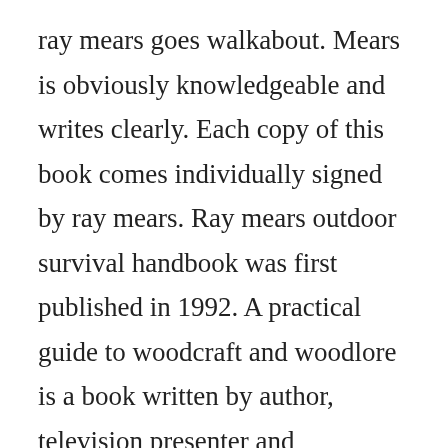ray mears goes walkabout. Mears is obviously knowledgeable and writes clearly. Each copy of this book comes individually signed by ray mears. Ray mears outdoor survival handbook was first published in 1992. A practical guide to woodcraft and woodlore is a book written by author, television presenter and outdoorsman ray mears. Imo, ray is one of the worlds most skilled survival experts and a heck of a nice guy to boot. Ray mears outdoor survival handbook is a book of discovery, explaining the everyday skills you need to live in and using the natural world. For aboriginal...